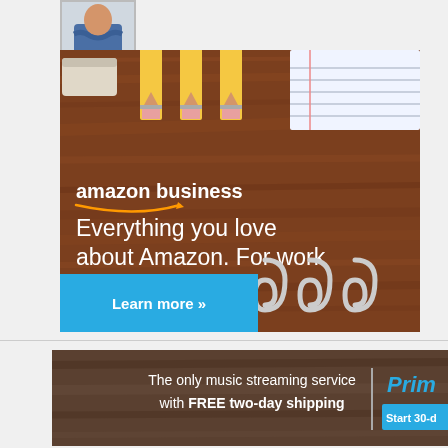[Figure (photo): Partial view of a person in a blue shirt with arms crossed, shown in a bordered thumbnail]
[Figure (illustration): Amazon Business advertisement banner on a wood-grain background with pencils and paper clips. Text: 'amazon business — Everything you love about Amazon. For work' with a 'Learn more »' cyan button.]
[Figure (illustration): Amazon Prime Music advertisement banner on a dark wood background: 'The only music streaming service with FREE two-day shipping' on the left; 'Prim...' logo and 'Start 30-d...' button on the right.]